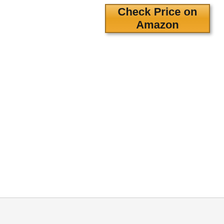[Figure (other): Orange gradient Amazon price-check button with bold text 'Check Price on Amazon' and drop shadow border]